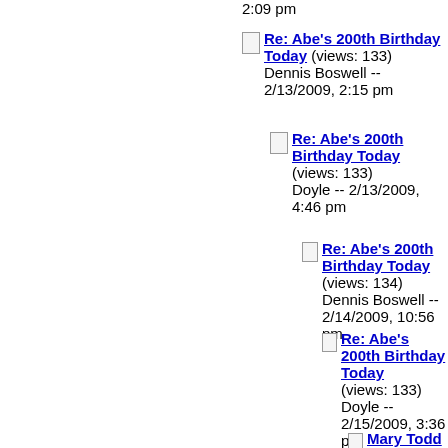2:09 pm
Re: Abe's 200th Birthday Today (views: 133) Dennis Boswell -- 2/13/2009, 2:15 pm
Re: Abe's 200th Birthday Today (views: 133) Doyle -- 2/13/2009, 4:46 pm
Re: Abe's 200th Birthday Today (views: 134) Dennis Boswell -- 2/14/2009, 10:56 pm
Re: Abe's 200th Birthday Today (views: 133) Doyle -- 2/15/2009, 3:36 pm
Mary Todd Lincoln on Slavery (views: 133) Doyle -- 2/15/2009, 8:24 pm
Re: